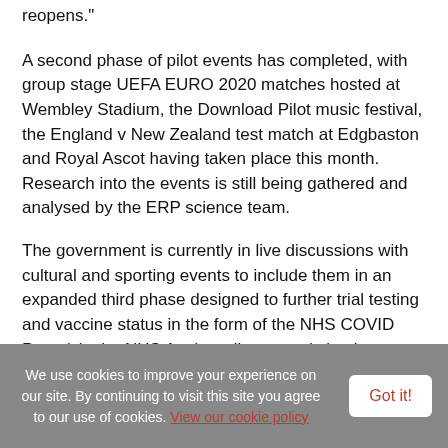reopens."
A second phase of pilot events has completed, with group stage UEFA EURO 2020 matches hosted at Wembley Stadium, the Download Pilot music festival, the England v New Zealand test match at Edgbaston and Royal Ascot having taken place this month. Research into the events is still being gathered and analysed by the ERP science team.
The government is currently in live discussions with cultural and sporting events to include them in an expanded third phase designed to further trial testing and vaccine status in the form of the NHS COVID Pass (via the NHS App) to allow crowds back
We use cookies to improve your experience on our site. By continuing to visit this site you agree to our use of cookies. View our cookie policy